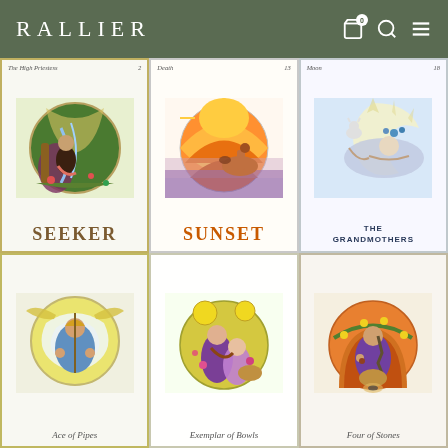RALLIER
[Figure (photo): Grid of 6 tarot cards: top row - The High Priestess/SEEKER, Death/SUNSET, Moon/THE GRANDMOTHERS; bottom row - Ace of Pipes, Exemplar of Bowls, Four of Stones]